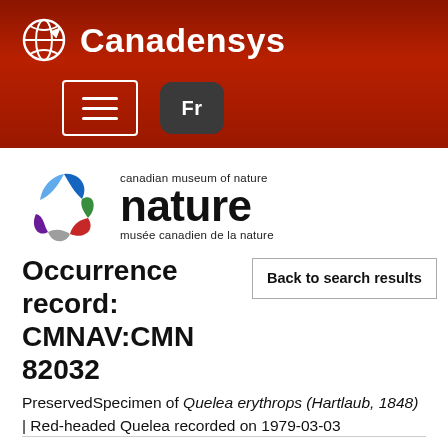Canadensys
[Figure (logo): Canadian Museum of Nature logo with colourful swirl and 'nature' wordmark]
Occurrence record: CMNAV:CMN 82032
Back to search results
PreservedSpecimen of Quelea erythrops (Hartlaub, 1848) | Red-headed Quelea recorded on 1979-03-03